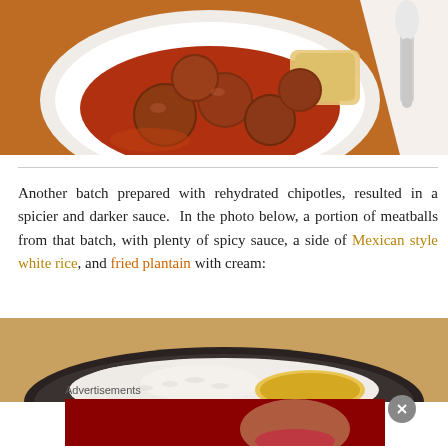[Figure (photo): A white plate with meatballs in red tomato sauce and a side of rice, with a spoon visible on the right, on a wooden table.]
Another batch prepared with rehydrated chipotles, resulted in a spicier and darker sauce.  In the photo below, a portion of meatballs from that batch, with plenty of spicy sauce, a side of Mexican style white rice, and fried plantain with cream:
[Figure (photo): A dark bowl containing white rice and other food items, partially visible at the bottom of the page.]
Advertisements
[Figure (photo): Macy's advertisement banner reading 'KISS BORING LIPS GOODBYE' with a woman's face and red lips, and a 'SHOP NOW' button with the Macy's star logo.]